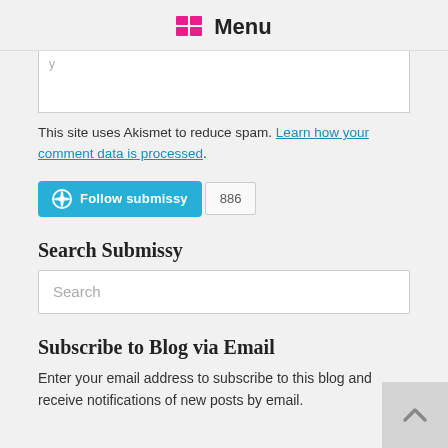Menu
[Figure (screenshot): Partial comment text area input box]
This site uses Akismet to reduce spam. Learn how your comment data is processed.
[Figure (other): Follow submissy button with count 886]
Search Submissy
[Figure (screenshot): Search input box with placeholder text 'Search']
Subscribe to Blog via Email
Enter your email address to subscribe to this blog and receive notifications of new posts by email.